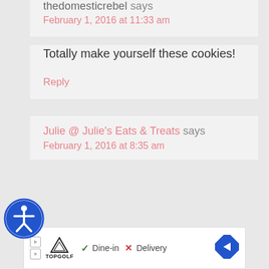thedomesticrebel says
February 1, 2016 at 11:33 am
Totally make yourself these cookies!
Reply
Julie @ Julie's Eats & Treats says
February 1, 2016 at 8:35 am
[Figure (logo): TopGolf advertisement banner with Dine-in checkmark and Delivery X mark]